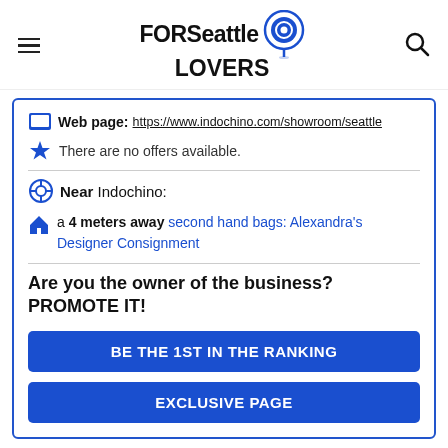FOR Seattle LOVERS
Web page: https://www.indochino.com/showroom/seattle
There are no offers available.
Near Indochino:
a 4 meters away second hand bags: Alexandra's Designer Consignment
Are you the owner of the business? PROMOTE IT!
BE THE 1ST IN THE RANKING
EXCLUSIVE PAGE